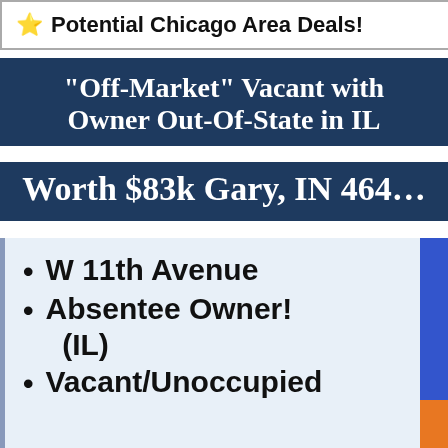⭐ Potential Chicago Area Deals!
"Off-Market" Vacant with Owner Out-Of-State in IL
Worth $83k Gary, IN 464...
W 11th Avenue
Absentee Owner! (IL)
Vacant/Unoccupied